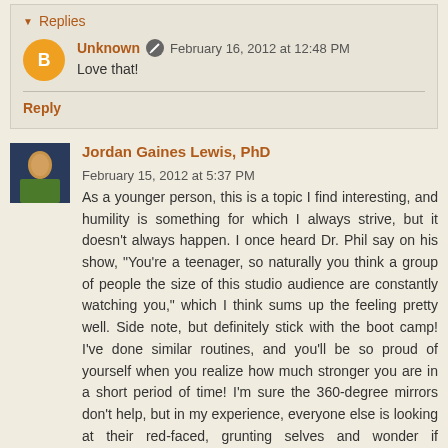Replies
Unknown  February 16, 2012 at 12:48 PM
Love that!
Reply
Jordan Gaines Lewis, PhD  February 15, 2012 at 5:37 PM
As a younger person, this is a topic I find interesting, and humility is something for which I always strive, but it doesn't always happen. I once heard Dr. Phil say on his show, "You're a teenager, so naturally you think a group of people the size of this studio audience are constantly watching you," which I think sums up the feeling pretty well. Side note, but definitely stick with the boot camp! I've done similar routines, and you'll be so proud of yourself when you realize how much stronger you are in a short period of time! I'm sure the 360-degree mirrors don't help, but in my experience, everyone else is looking at their red-faced, grunting selves and wonder if everyone is judging them; they're